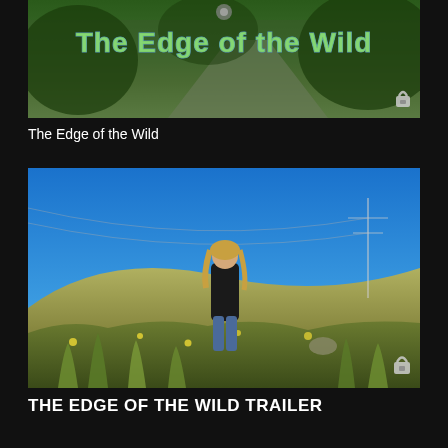[Figure (photo): Thumbnail image for 'The Edge of the Wild' showing a forest/nature scene with stylized blue and green text title overlay]
The Edge of the Wild
[Figure (photo): Thumbnail image showing a person with long blonde hair in dark jacket and blue jeans standing on a grassy hillside under a blue sky]
THE EDGE OF THE WILD TRAILER